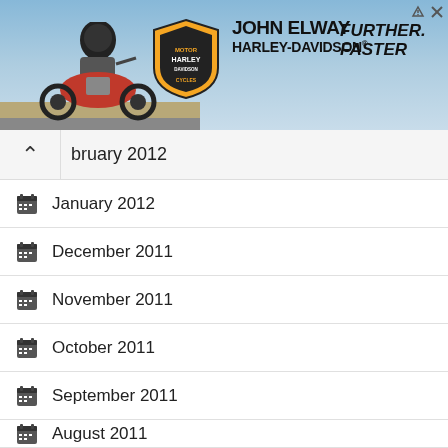[Figure (photo): Harley-Davidson advertisement banner showing a motorcycle rider on a road with desert landscape background. Features the John Elway Harley-Davidson logo and 'Further. Faster.' tagline.]
February 2012
January 2012
December 2011
November 2011
October 2011
September 2011
August 2011
June 2011
May 2011
April 2011
March 2011